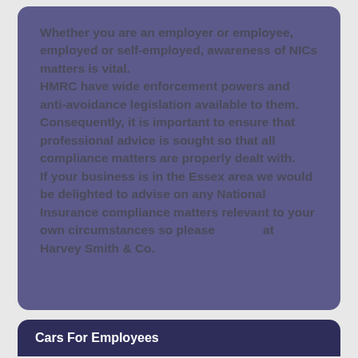Whether you are an employer or employee, employed or self-employed, awareness of NICs matters is vital.
HMRC have wide enforcement powers and anti-avoidance legislation available to them. Consequently, it is important to ensure that professional advice is sought so that all compliance matters are properly dealt with.
If your business is in the Essex area we would be delighted to advise on any National Insurance compliance matters relevant to your own circumstances so please at Harvey Smith & Co.
Cars For Employees